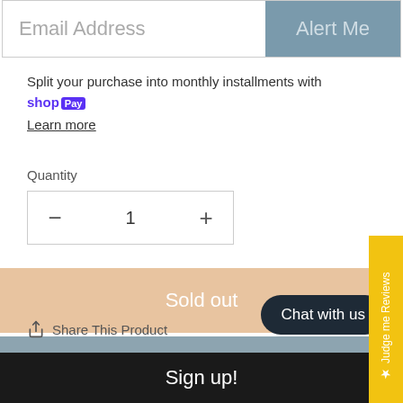Email Address | Alert Me
Split your purchase into monthly installments with Shop Pay. Learn more
Quantity
— 1 +
Sold out
Buy it now
★ Judge me Reviews
↑ Share This Product
Chat with us
Sign up!